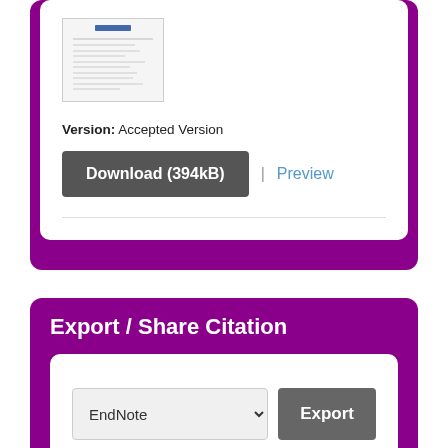[Figure (screenshot): Thumbnail preview of a document page showing text and table content]
Version: Accepted Version
Download (394kB) | Preview
Export / Share Citation
EndNote [dropdown] Export [button]